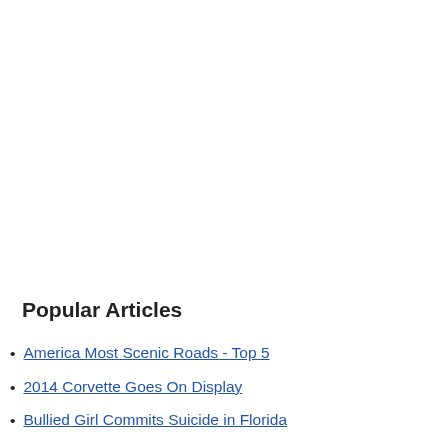Popular Articles
America Most Scenic Roads - Top 5
2014 Corvette Goes On Display
Bullied Girl Commits Suicide in Florida